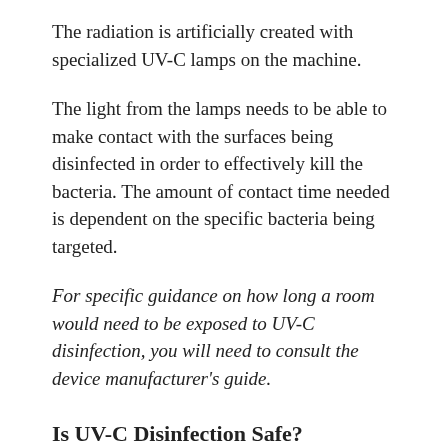The radiation is artificially created with specialized UV-C lamps on the machine.
The light from the lamps needs to be able to make contact with the surfaces being disinfected in order to effectively kill the bacteria. The amount of contact time needed is dependent on the specific bacteria being targeted.
For specific guidance on how long a room would need to be exposed to UV-C disinfection, you will need to consult the device manufacturer's guide.
Is UV-C Disinfection Safe?